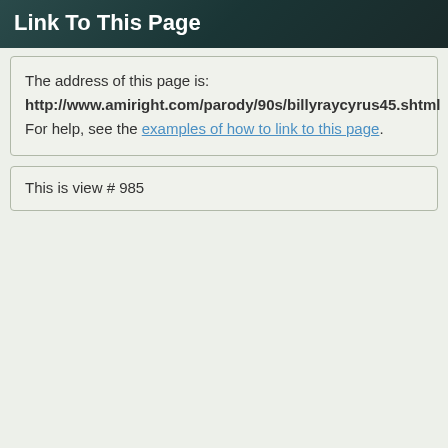Link To This Page
The address of this page is:
http://www.amiright.com/parody/90s/billyraycyrus45.shtml
For help, see the examples of how to link to this page.
This is view # 985